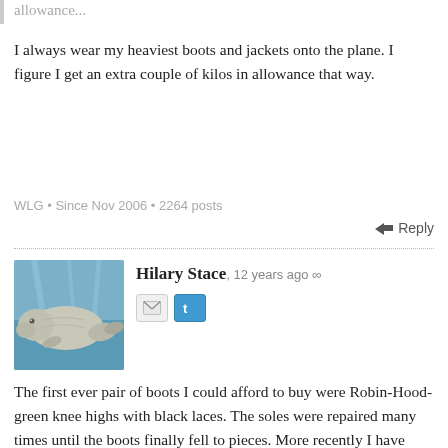allowance...
I always wear my heaviest boots and jackets onto the plane. I figure I get an extra couple of kilos in allowance that way.
WLG • Since Nov 2006 • 2264 posts
↩ Reply
[Figure (photo): Avatar photo of a manatee swimming underwater]
Hilary Stace, 12 years ago ∞
The first ever pair of boots I could afford to buy were Robin-Hood- green knee highs with black laces. The soles were repaired many times until the boots finally fell to pieces. More recently I have cherished a pair of square-toed red ankle boots which the nice shoe repairers at the railway station have now told me are beyond hope. I do a lot of walking and my shoes have to be comfortable, and I hate having to say goodbye to them.
In the green boot days I also used to make all my own clothes and memorable from that time was a